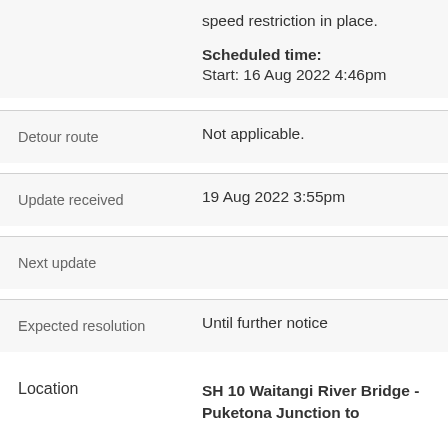speed restriction in place.
Scheduled time:
Start: 16 Aug 2022 4:46pm
| Detour route | Not applicable. |
| Update received | 19 Aug 2022 3:55pm |
| Next update |  |
| Expected resolution | Until further notice |
Location	SH 10 Waitangi River Bridge - Puketona Junction to